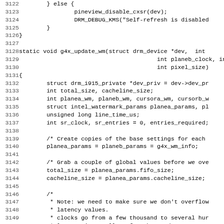[Figure (other): Source code listing (C) showing lines 3122-3154 of a Linux kernel graphics driver, featuring functions pineview_disable_cxsr, DRM_DEBUG_KMS, and g4x_update_wm with variable declarations and comments.]